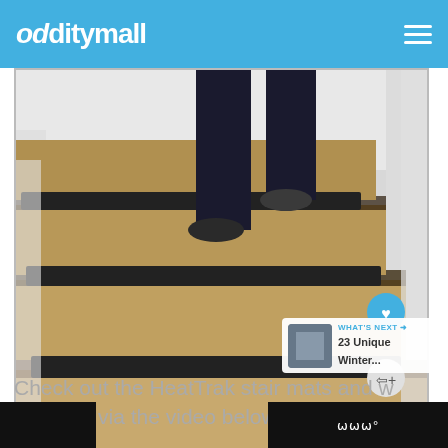odditymall
[Figure (photo): Person walking up snow-covered outdoor stone stairs with dark HeatTrak heated stair mats on each step, surrounded by snow.]
WHAT'S NEXT → 23 Unique Winter...
Check out the HeatTrak stair mats and w... in action via the video below.